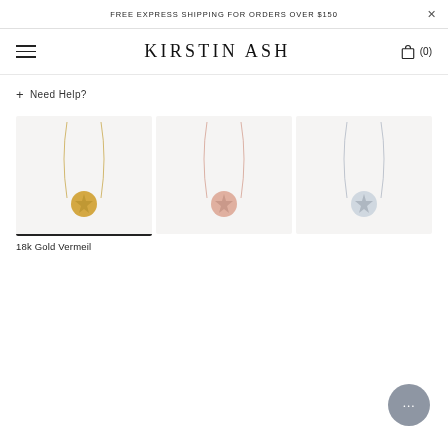FREE EXPRESS SHIPPING FOR ORDERS OVER $150
[Figure (logo): Kirstin Ash brand logo with hamburger menu and shopping cart icon showing (0) items]
+ Need Help?
[Figure (photo): Three necklace product images side by side: 18k Gold Vermeil (selected, gold coin pendant), rose gold coin pendant, and silver coin pendant, all on thin chains against a light grey background]
18k Gold Vermeil